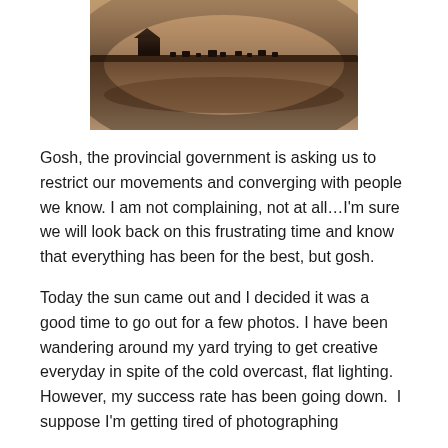[Figure (photo): A sepia-toned or black-and-white photograph of an open field or prairie with cattle/animals visible in the distance, and what appears to be a barn or structure in the background. The landscape is flat with a wide sky.]
Gosh, the provincial government is asking us to restrict our movements and converging with people we know. I am not complaining, not at all…I'm sure we will look back on this frustrating time and know that everything has been for the best, but gosh.
Today the sun came out and I decided it was a good time to go out for a few photos. I have been wandering around my yard trying to get creative everyday in spite of the cold overcast, flat lighting. However, my success rate has been going down.  I suppose I'm getting tired of photographing